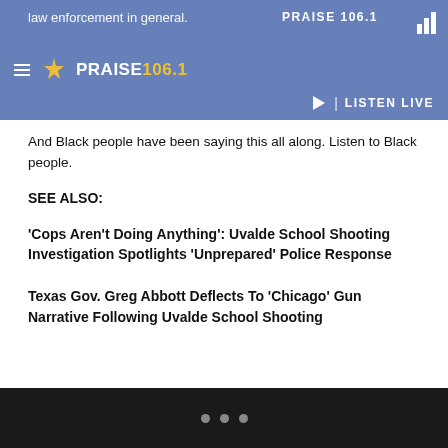law enforcement in general. | PRAISE 106.1 | LISTEN LIVE
And Black people have been saying this all along. Listen to Black people.
SEE ALSO:
'Cops Aren't Doing Anything': Uvalde School Shooting Investigation Spotlights 'Unprepared' Police Response
Texas Gov. Greg Abbott Deflects To 'Chicago' Gun Narrative Following Uvalde School Shooting
• • •